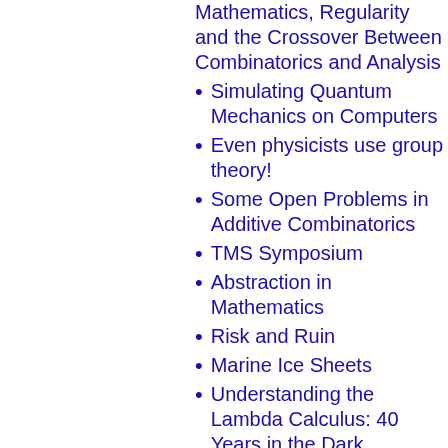Mathematics, Regularity and the Crossover Between Combinatorics and Analysis
Simulating Quantum Mechanics on Computers
Even physicists use group theory!
Some Open Problems in Additive Combinatorics
TMS Symposium
Abstraction in Mathematics
Risk and Ruin
Marine Ice Sheets
Understanding the Lambda Calculus: 40 Years in the Dark
This House Does Not Accept the Axiom of Choice
Call My Bluff
Pulling Oneself Up By One's Bootstraps in Theoretical Physics